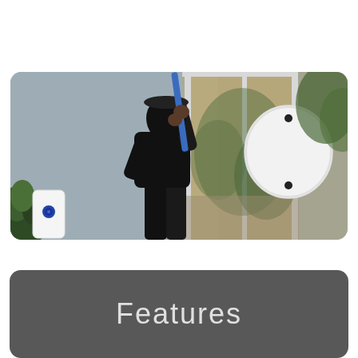[Figure (photo): A person dressed in black with a black hat, using a blue pry bar to break into a sliding glass door from outside a house. On the left side is a small white rectangular sensor device with a blue dot/button. On the right side is a white round disc-shaped sensor device with two black screw holes. Green plants and trees visible in the background.]
Features